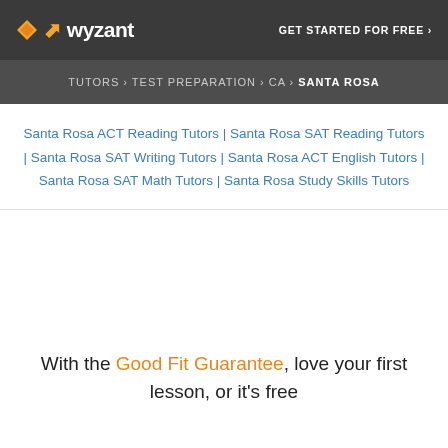wyzant — GET STARTED FOR FREE ›
TUTORS › TEST PREPARATION › CA › SANTA ROSA
Santa Rosa ACT Reading Tutors | Santa Rosa SAT Reading Tutors | Santa Rosa SAT Writing Tutors | Santa Rosa ACT English Tutors | Santa Rosa SAT Math Tutors | Santa Rosa Study Skills Tutors
With the Good Fit Guarantee, love your first lesson, or it's free